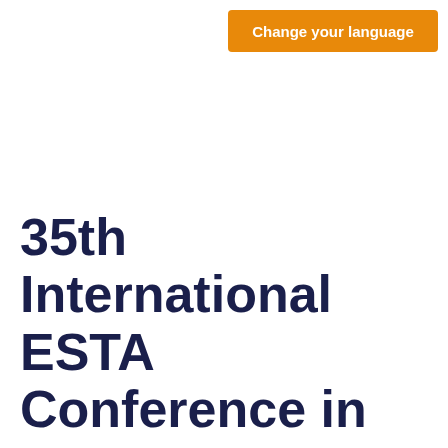[Figure (other): Orange button with white text reading 'Change your language']
35th International ESTA Conference in